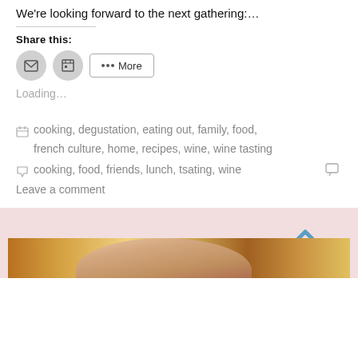We're looking forward to the next gathering:…
Share this:
Loading...
cooking, degustation, eating out, family, food, french culture, home, recipes, wine, wine tasting
cooking, food, friends, lunch, tsating, wine
Leave a comment
[Figure (photo): Bottom section with pink background, up-chevron arrow icon, and a partial photo of a person]